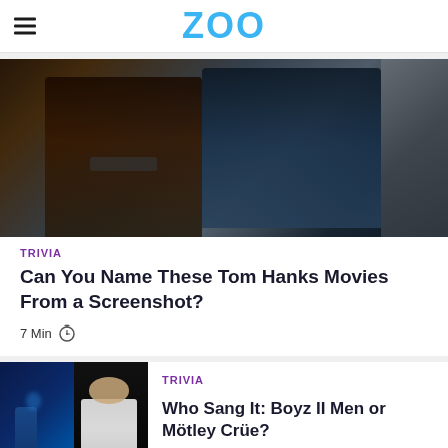ZOO
[Figure (photo): Movie screenshot showing two men in formal wear surrounded by a crowd — appears to be from a Tom Hanks movie]
TRIVIA
Can You Name These Tom Hanks Movies From a Screenshot?
7 Min
TRIVIA
[Figure (photo): Two images side by side: a performer on stage in blue light on the left, and a man in white clothing on the right — related to Boyz II Men or Mötley Crüe quiz]
Who Sang It: Boyz II Men or Mötley Crüe?